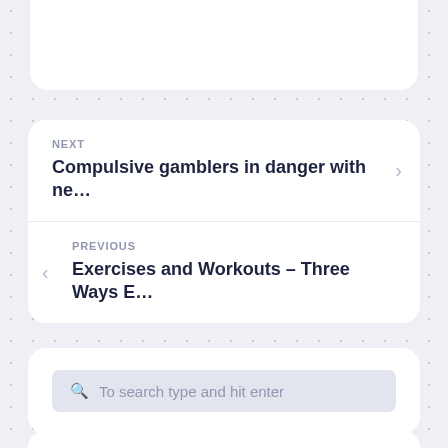[Figure (screenshot): Top card partially visible at top of page]
NEXT
Compulsive gamblers in danger with ne…
PREVIOUS
Exercises and Workouts – Three Ways E…
To search type and hit enter
[Figure (screenshot): Bottom card partially visible at bottom of page]